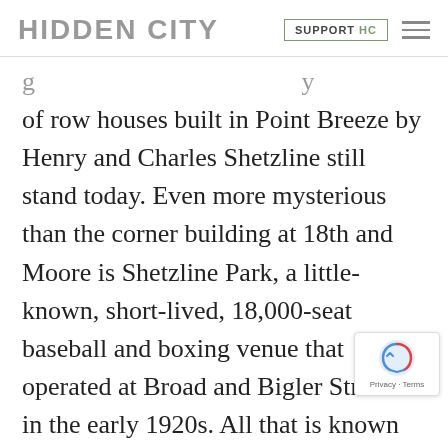HIDDEN CITY  SUPPORT HC
of row houses built in Point Breeze by Henry and Charles Shetzline still stand today. Even more mysterious than the corner building at 18th and Moore is Shetzline Park, a little-known, short-lived, 18,000-seat baseball and boxing venue that operated at Broad and Bigler Streets in the early 1920s. All that is known about the park is that the semi-pro, independent baseball team called the South Phillies once claimed it as their home field. It is not even known the park was an actual piece of athletic